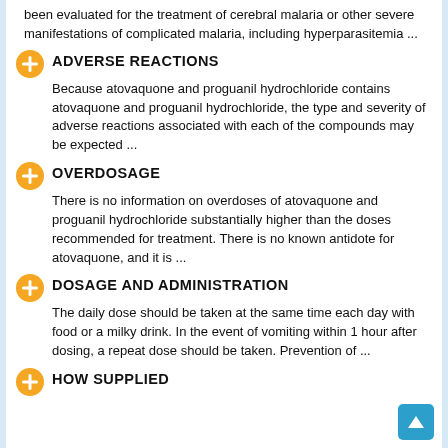been evaluated for the treatment of cerebral malaria or other severe manifestations of complicated malaria, including hyperparasitemia ...
ADVERSE REACTIONS
Because atovaquone and proguanil hydrochloride contains atovaquone and proguanil hydrochloride, the type and severity of adverse reactions associated with each of the compounds may be expected ...
OVERDOSAGE
There is no information on overdoses of atovaquone and proguanil hydrochloride substantially higher than the doses recommended for treatment. There is no known antidote for atovaquone, and it is ...
DOSAGE AND ADMINISTRATION
The daily dose should be taken at the same time each day with food or a milky drink. In the event of vomiting within 1 hour after dosing, a repeat dose should be taken. Prevention of ...
HOW SUPPLIED